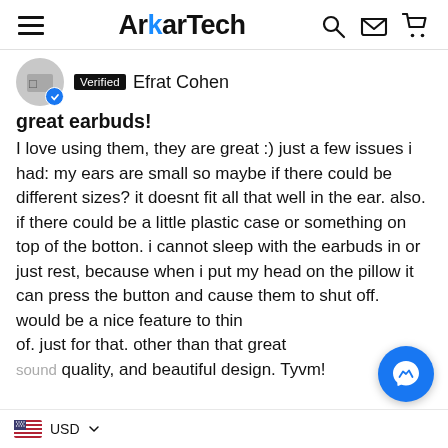ArkarTech
Verified  Efrat Cohen
great earbuds!
I love using them, they are great :) just a few issues i had: my ears are small so maybe if there could be different sizes? it doesnt fit all that well in the ear. also. if there could be a little plastic case or something on top of the botton. i cannot sleep with the earbuds in or just rest, because when i put my head on the pillow it can press the button and cause them to shut off. would be a nice feature to think of. just for that. other than that great sound quality, and beautiful design. Tyvm!
USD